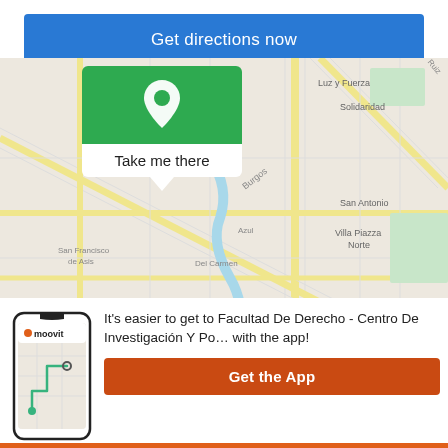Get directions now
[Figure (map): Street map showing a location pin popup with 'Take me there' label, showing streets including Burgos, San Antonio, Del Carmen, Roca, Azul, Solidaridad, Luz y Fuerza, San Francisco de Asis, Ceferino Namuncura, Urioste, Pinasco, Los Pinos, Villa Piazza Norte]
[Figure (screenshot): Moovit app screenshot on a phone showing route map with location markers]
It's easier to get to Facultad De Derecho - Centro De Investigación Y Po… with the app!
Get the App